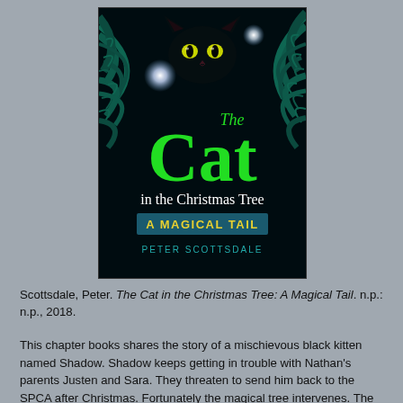[Figure (illustration): Book cover of 'The Cat in the Christmas Tree: A Magical Tail' by Peter Scottsdale. Dark background with a black cat with glowing yellow-green eyes peering through dark teal pine/Christmas tree branches. Two glowing white orb lights visible. Large bright green text reads 'The Cat' with smaller white text 'in the Christmas Tree'. A teal/dark blue banner reads 'A MAGICAL TAIL' in yellow text. Below in teal letters: 'PETER SCOTTSDALE'.]
Scottsdale, Peter. The Cat in the Christmas Tree: A Magical Tail. n.p.: n.p., 2018.
This chapter books shares the story of a mischievous black kitten named Shadow. Shadow keeps getting in trouble with Nathan's parents Justen and Sara. They threaten to send him back to the SPCA after Christmas. Fortunately the magical tree intervenes. The story itself was okay, but I was